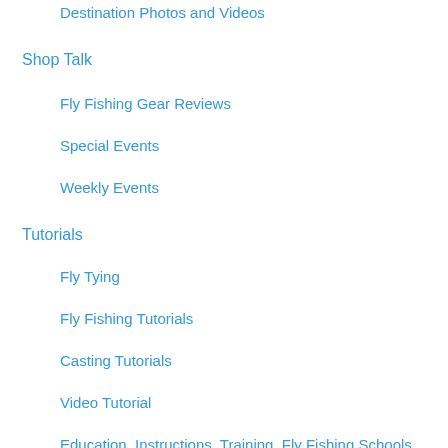Destination Photos and Videos
Shop Talk
Fly Fishing Gear Reviews
Special Events
Weekly Events
Tutorials
Fly Tying
Fly Fishing Tutorials
Casting Tutorials
Video Tutorial
Education, Instructions, Training, Fly Fishing Schools
Archives